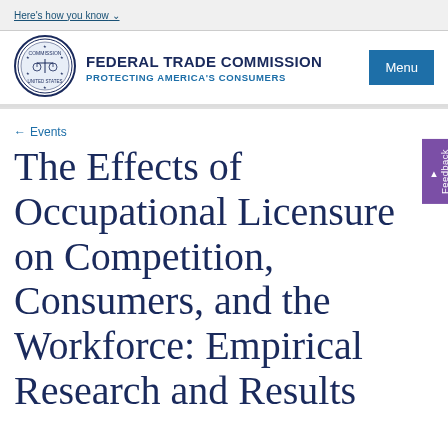Here's how you know
[Figure (logo): Federal Trade Commission seal/logo circular emblem with scales of justice]
FEDERAL TRADE COMMISSION PROTECTING AMERICA'S CONSUMERS
← Events
The Effects of Occupational Licensure on Competition, Consumers, and the Workforce: Empirical Research and Results